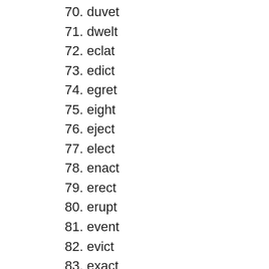70. duvet
71. dwelt
72. eclat
73. edict
74. egret
75. eight
76. eject
77. elect
78. enact
79. erect
80. erupt
81. event
82. evict
83. exact
84. exalt
85. exert
86. exist
87. exult